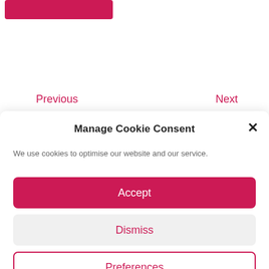[Figure (screenshot): Pink/crimson button at the top of the page, partially cropped]
Previous
Next
Manage Cookie Consent
We use cookies to optimise our website and our service.
Accept
Dismiss
Preferences